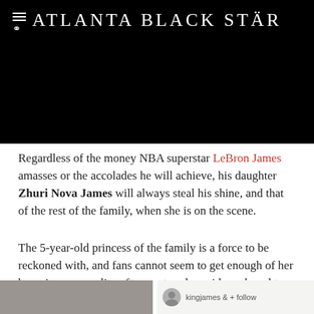Atlanta Black Star
Regardless of the money NBA superstar LeBron James amasses or the accolades he will achieve, his daughter Zhuri Nova James will always steal his shine, and that of the rest of the family, when she is on the scene.
The 5-year-old princess of the family is a force to be reckoned with, and fans cannot seem to get enough of her booming personality often captured on videos shared to social by James or his wife, Savannah James.
[Figure (photo): Bottom strip showing a partial image on the left and a social media post snippet on the right with avatar and username kingjames]